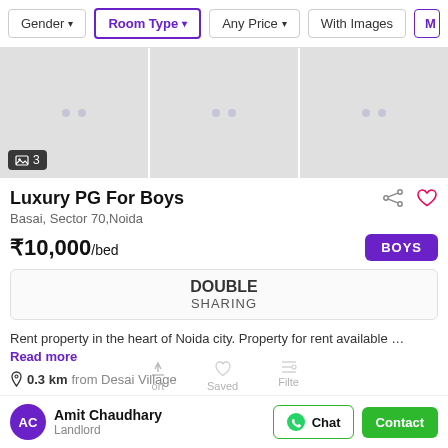Gender | Room Type | Any Price | With Images | Mo
[Figure (screenshot): Three placeholder image panels for a PG listing, with a badge showing '3' images in the bottom-left corner of the first panel]
Luxury PG For Boys
Basai, Sector 70,Noida
₹10,000/bed
BOYS
DOUBLE
SHARING
Rent property in the heart of Noida city. Property for rent available … Read more
0.3 km from Desai Village
Amit Chaudhary
Landlord
Chat  Contact